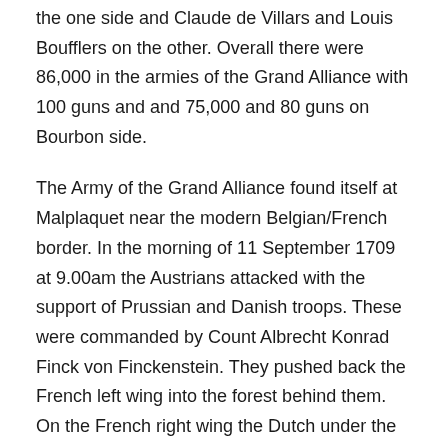the one side and Claude de Villars and Louis Boufflers on the other. Overall there were 86,000 in the armies of the Grand Alliance with 100 guns and and 75,000 and 80 guns on Bourbon side.
The Army of the Grand Alliance found itself at Malplaquet near the modern Belgian/French border. In the morning of 11 September 1709 at 9.00am the Austrians attacked with the support of Prussian and Danish troops. These were commanded by Count Albrecht Konrad Finck von Finckenstein. They pushed back the French left wing into the forest behind them. On the French right wing the Dutch under the command of the Prince of Orange, John William Friso, attacked to distract the French and prevent them from coming to Villars' aid.
(partial text at bottom, truncated)